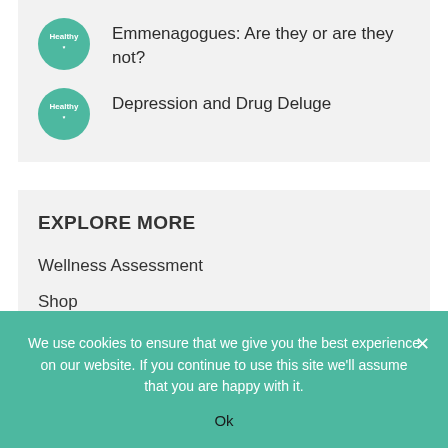Emmenagogues: Are they or are they not?
Depression and Drug Deluge
EXPLORE MORE
Wellness Assessment
Shop
We use cookies to ensure that we give you the best experience on our website. If you continue to use this site we'll assume that you are happy with it.
Ok